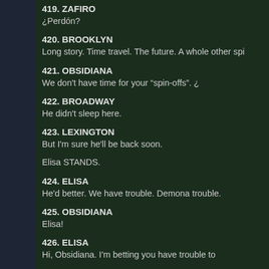419. ZAFIRO
¿Perdón?
420. BROOKLYN
Long story. Time travel. The future. A whole other spi
421. OBSIDIANA
We don't have time for your “spin-offs”. ¿
422. BROADWAY
He didn't sleep here.
423. LEXINGTON
But I'm sure he'll be back soon.
Elisa STANDS.
424. ELISA
He'd better. We have trouble. Demona trouble.
425. OBSIDIANA
Elisa!
426. ELISA
Hi, Obsidiana. I'm betting you have trouble to